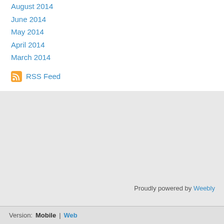August 2014
June 2014
May 2014
April 2014
March 2014
RSS Feed
Proudly powered by Weebly
Version: Mobile | Web